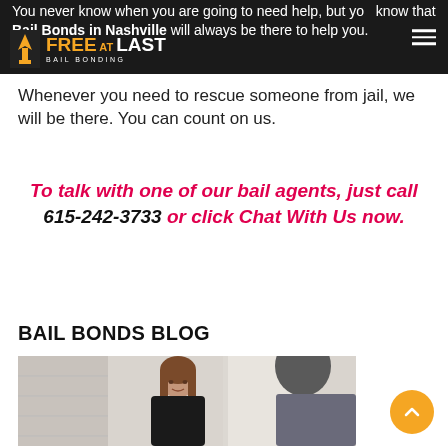You never know when you are going to need help, but you know that Bail Bonds in Nashville will always be there to help you.
Whenever you need to rescue someone from jail, we will be there. You can count on us.
To talk with one of our bail agents, just call 615-242-3733 or click Chat With Us now.
BAIL BONDS BLOG
[Figure (photo): Photo of a woman with brown hair in a black top, smiling, possibly in a consultation setting, with another person partially visible in the foreground.]